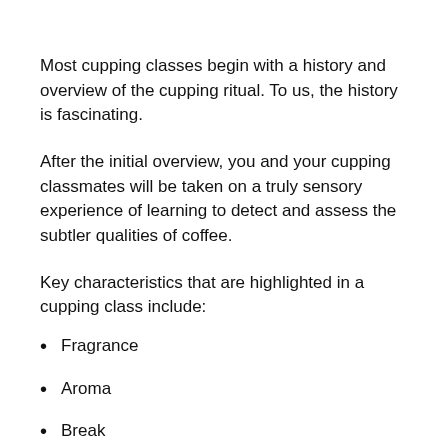Most cupping classes begin with a history and overview of the cupping ritual. To us, the history is fascinating.
After the initial overview, you and your cupping classmates will be taken on a truly sensory experience of learning to detect and assess the subtler qualities of coffee.
Key characteristics that are highlighted in a cupping class include:
Fragrance
Aroma
Break
Brightness